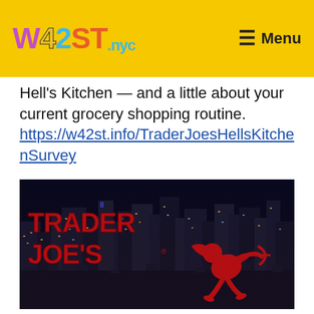W42ST.nyc  Menu
Hell's Kitchen — and a little about your current grocery shopping routine. https://w42st.info/TraderJoesHellsKitchenSurvey
[Figure (photo): Trader Joe's logo with red cupid silhouette overlaid on a night cityscape of New York City skyline]